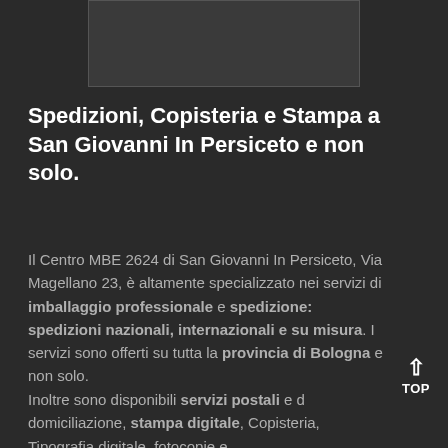[Figure (photo): A dark rectangular image placeholder at the top of the page]
Spedizioni, Copisteria e Stampa a San Giovanni In Persiceto e non solo.
Il Centro MBE 2624 di San Giovanni In Persiceto, Via Magellano 23, è altamente specializzato nei servizi di imballaggio professionale e spedizione: spedizioni nazionali, internazionali e su misura. I servizi sono offerti su tutta la provincia di Bologna e non solo.
Inoltre sono disponibili servizi postali e d domiciliazione, stampa digitale, Copisteria, Tipografia digitale, fotocopie e …